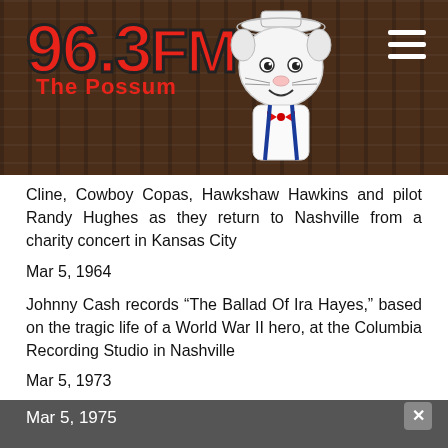[Figure (logo): 96.3 FM The Possum radio station logo with cartoon possum character on dark wood-grain background with hamburger menu icon]
Cline, Cowboy Copas, Hawkshaw Hawkins and pilot Randy Hughes as they return to Nashville from a charity concert in Kansas City
Mar 5, 1964
Johnny Cash records “The Ballad Of Ira Hayes,” based on the tragic life of a World War II hero, at the Columbia Recording Studio in Nashville
Mar 5, 1973
Alabama, billed as Wildcountry, makes its debut at The Bowery in Myrtle Beach, South Carolina. The band remains regulars at the club for the next seven years
Mar 5, 1975